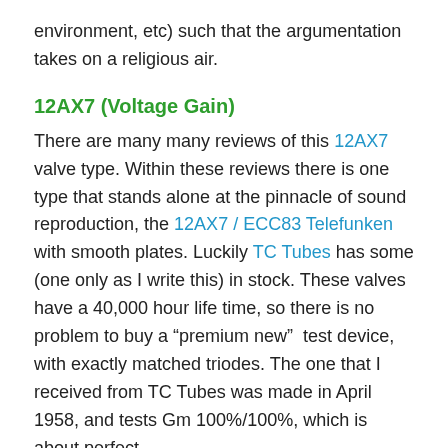environment, etc) such that the argumentation takes on a religious air.
12AX7 (Voltage Gain)
There are many many reviews of this 12AX7 valve type. Within these reviews there is one type that stands alone at the pinnacle of sound reproduction, the 12AX7 / ECC83 Telefunken with smooth plates. Luckily TC Tubes has some (one only as I write this) in stock. These valves have a 40,000 hour life time, so there is no problem to buy a “premium new”  test device, with exactly matched triodes. The one that I received from TC Tubes was made in April 1958, and tests Gm 100%/100%, which is about perfect.
Also as an alternative, there are great reviews of the military version of the 12AX7 being the 5751 which has a lower gain (Mu of 70 vs. Mu100 for 12AX7), and is also